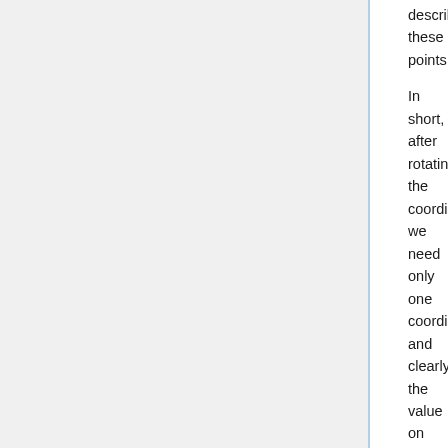describe these points.
In short, after rotating the coordinates, we need only one coordinate and clearly the value on the other one is always zero. This example shows PCA's dimension reduction in an extreme case while in real world points may not fit exactly on a line, but only approximately.
PCA applications
As mentioned, PCA is a method to reduce data dimension if possible to principal components such that those PCs cover as much data variation as possible. This technique is useful in different type of applications which involve data with a huge dimension like data pre-processing, neuroscience, computer graphics, meteorology, oceanography, gene expression